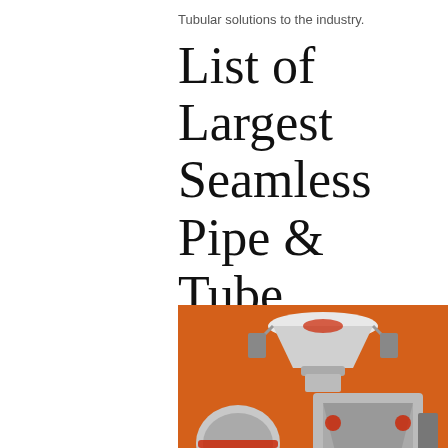Tubular solutions to the industry.
List of Largest Seamless Pipe & Tube Manufacturers in India!
Mar 12, 2019 · In India, the largest carbon alloy steel seamless pipe manufacturers are J SAW, Maharashtra Seamless Limited, Ratnam & Tubes, and ISMT. In case of stainless steel, estimates 90% of the products are imported, c high cost of manufacturing in India. Metallica is one of the biggest supplier and dealer of ...
Steel Pipes & Tubes - Steel Pipes &
[Figure (illustration): Advertisement panel with orange background showing industrial machinery (crushers/mills), with yellow 'Enjoy 3% discount' banner, orange 'Click to Chat' button, Enquiry section, and limingjlmofen@sina.com email contact.]